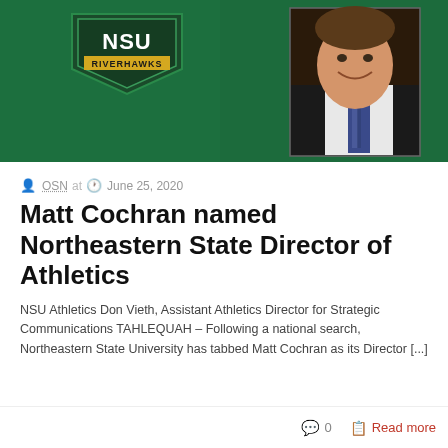[Figure (photo): NSU RiverHawks branding image on green background with logo on left and a professional headshot of a man in a suit and tie on the right]
OSN at  June 25, 2020
Matt Cochran named Northeastern State Director of Athletics
NSU Athletics Don Vieth, Assistant Athletics Director for Strategic Communications TAHLEQUAH – Following a national search, Northeastern State University has tabbed Matt Cochran as its Director [...]
0  Read more